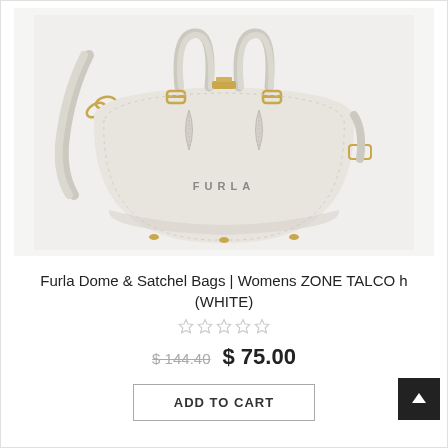[Figure (photo): A white Furla Dome & Satchel bag with gold hardware, two top handles, and a removable crossbody strap. The bag has leaf-shaped embellishments near the top handles and the FURLA logo embossed on the front. Background is light gray.]
Furla Dome & Satchel Bags | Womens ZONE TALCO h (WHITE)
★★★★★ (empty stars rating)
$ 144.40  $ 75.00
ADD TO CART